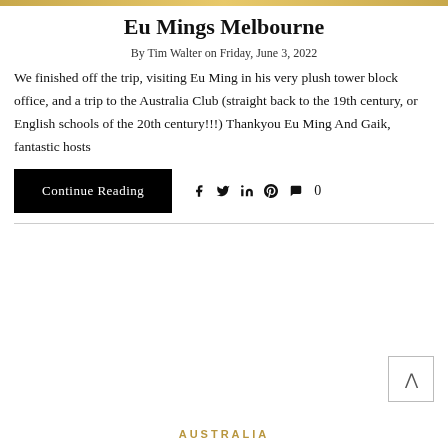Eu Mings Melbourne
By Tim Walter on Friday, June 3, 2022
We finished off the trip, visiting Eu Ming in his very plush tower block office, and a trip to the Australia Club (straight back to the 19th century, or English schools of the 20th century!!!) Thankyou Eu Ming And Gaik, fantastic hosts
AUSTRALIA